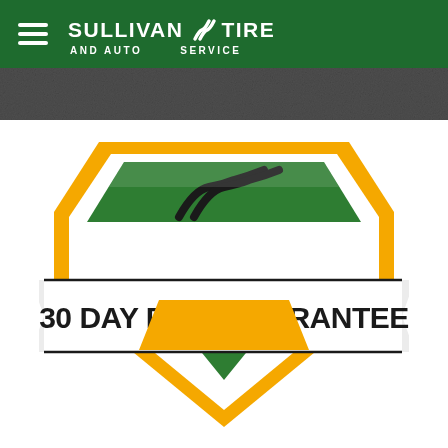[Figure (logo): Sullivan Tire and Auto Service navigation header with hamburger menu icon and company logo on green background]
[Figure (logo): 30 Day Ride Guarantee badge/shield logo with gold and green shield design, stylized S road logo, and banner reading '30 DAY RIDE GUARANTEE']